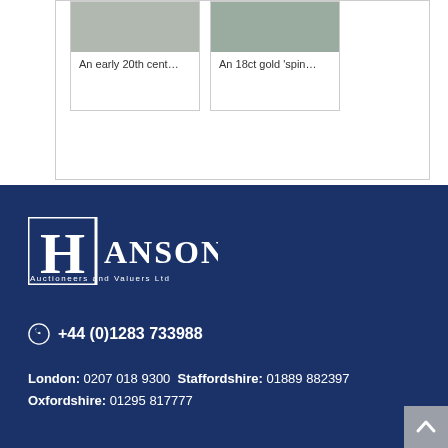[Figure (other): Auction item card: An early 20th cent...]
[Figure (other): Auction item card: An 18ct gold 'spin...]
[Figure (logo): Hansons Auctioneers and Valuers Ltd logo — H in a box with full company name]
+44 (0)1283 733988
London: 0207 018 9300 Staffordshire: 01889 882397 Oxfordshire: 01295 817777